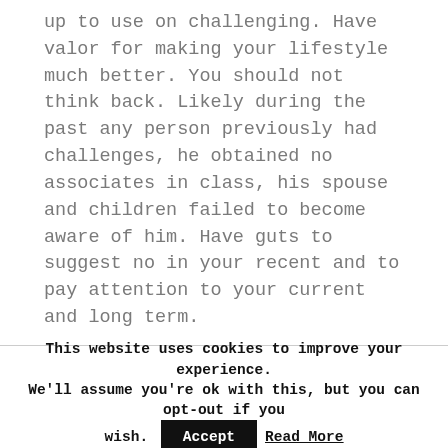up to use on challenging. Have valor for making your lifestyle much better. You should not think back. Likely during the past any person previously had challenges, he obtained no associates in class, his spouse and children failed to become aware of him. Have guts to suggest no in your recent and to pay attention to your current and long term.

You could possibly autumn thousands of circumstances and you will have terrible go through. Now it truly is a chance to imagine and move ahead, if you will dropped yet again.
This website uses cookies to improve your experience. We'll assume you're ok with this, but you can opt-out if you wish. Accept Read More